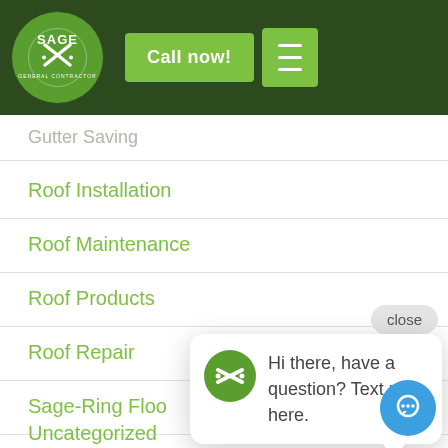[Figure (logo): Sage General Contractor circular logo with saw blade and crossed hammers, dark green header with Call now! button and hamburger menu]
Gutter Cleaning
Roof Installation
Roof Maintenance
Roof Products
Roof Repair
Sage-Ring Floo...
Uncategorized
close
[Figure (screenshot): Chat popup widget with Sage logo icon and message: Hi there, have a question? Text us here.]
Hi there, have a question? Text us here.